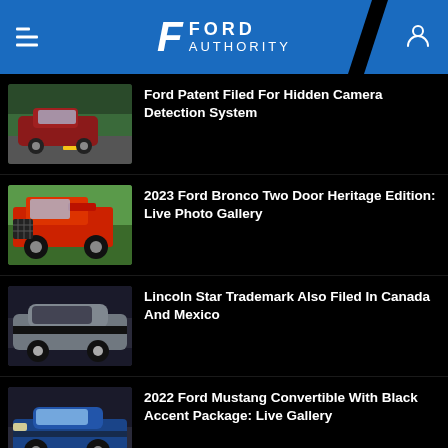Ford Authority
Ford Patent Filed For Hidden Camera Detection System
2023 Ford Bronco Two Door Heritage Edition: Live Photo Gallery
Lincoln Star Trademark Also Filed In Canada And Mexico
2022 Ford Mustang Convertible With Black Accent Package: Live Gallery
Ford Patent Filed For Device Detection And Reporting System